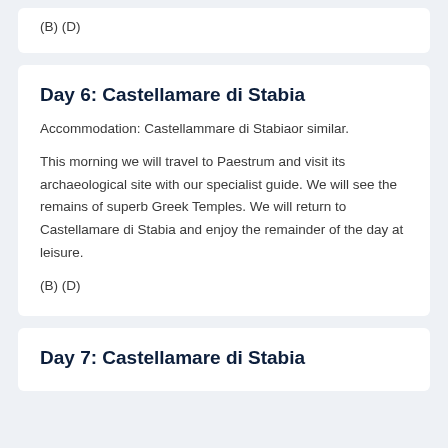(B) (D)
Day 6: Castellamare di Stabia
Accommodation: Castellammare di Stabiaor similar.
This morning we will travel to Paestrum and visit its archaeological site with our specialist guide. We will see the remains of superb Greek Temples. We will return to Castellamare di Stabia and enjoy the remainder of the day at leisure.
(B) (D)
Day 7: Castellamare di Stabia